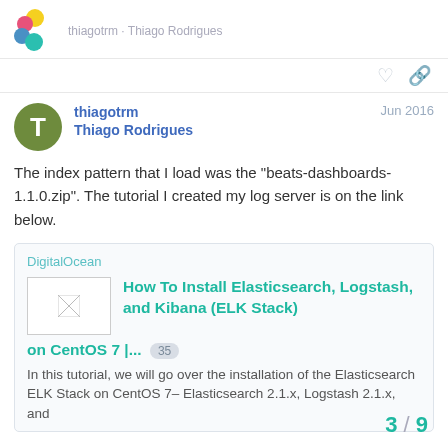[Figure (logo): Colorful flower/petal logo in pink, yellow, blue, and teal]
thiagotrm · Thiago Rodrigues
The index pattern that I load was the "beats-dashboards-1.1.0.zip". The tutorial I created my log server is on the link below.
DigitalOcean
How To Install Elasticsearch, Logstash, and Kibana (ELK Stack) on CentOS 7 |... 35
In this tutorial, we will go over the installation of the Elasticsearch ELK Stack on CentOS 7– Elasticsearch 2.1.x, Logstash 2.1.x, and
3 / 9